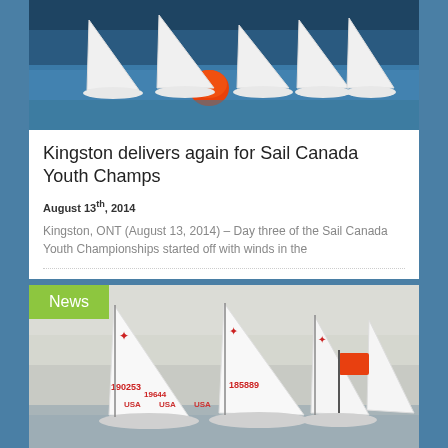[Figure (photo): Sailboats racing on water with white sails and an orange buoy in the foreground]
Kingston delivers again for Sail Canada Youth Champs
August 13th, 2014
Kingston, ONT (August 13, 2014) – Day three of the Sail Canada Youth Championships started off with winds in the
[Figure (photo): Sailboats with numbered sails (190253, 185889, 19644) and USA markings racing with an orange flag, foggy/overcast conditions. A green News label overlays the top-left of the image.]